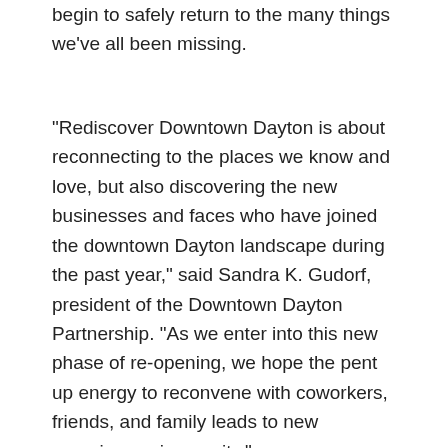begin to safely return to the many things we've all been missing.
“Rediscover Downtown Dayton is about reconnecting to the places we know and love, but also discovering the new businesses and faces who have joined the downtown Dayton landscape during the past year,” said Sandra K. Gudorf, president of the Downtown Dayton Partnership. “As we enter into this new phase of re-opening, we hope the pent up energy to reconvene with coworkers, friends, and family leads to new experiences in our city.”
The Rediscover Downtown Dayton is a piece of a